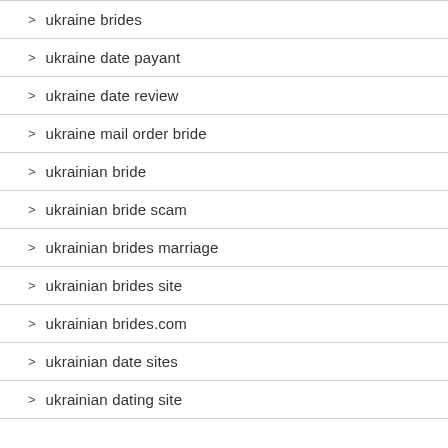ukraine brides
ukraine date payant
ukraine date review
ukraine mail order bride
ukrainian bride
ukrainian bride scam
ukrainian brides marriage
ukrainian brides site
ukrainian brides.com
ukrainian date sites
ukrainian dating site